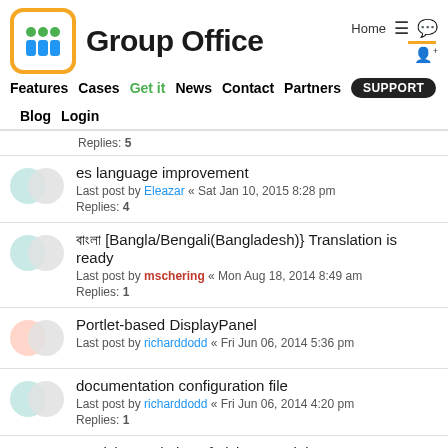[Figure (logo): Group Office logo with orange rounded square icon containing colored dots and text 'Group Office']
Features | Cases | Get it | News | Contact | Partners | Blog | Login | SUPPORT | Home
Replies: 5
es language improvement
Last post by Eleazar « Sat Jan 10, 2015 8:28 pm
Replies: 4
বাংলা [Bangla/Bengali(Bangladesh)} Translation is ready
Last post by mschering « Mon Aug 18, 2014 8:49 am
Replies: 1
Portlet-based DisplayPanel
Last post by richarddodd « Fri Jun 06, 2014 5:36 pm
documentation configuration file
Last post by richarddodd « Fri Jun 06, 2014 4:20 pm
Replies: 1
Danish translation of Tickets module
Last post by rantzauer « Tue May 27, 2014 10:14 am
Replies: 6